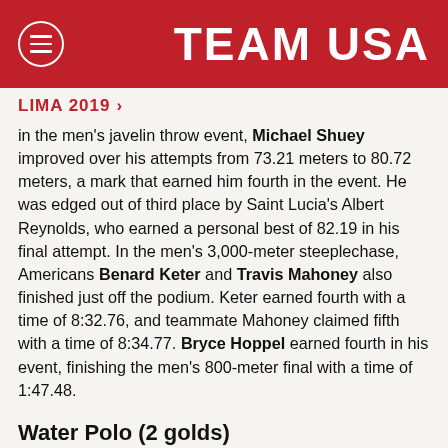TEAM USA
LIMA 2019 >
in the men's javelin throw event, Michael Shuey improved over his attempts from 73.21 meters to 80.72 meters, a mark that earned him fourth in the event. He was edged out of third place by Saint Lucia's Albert Reynolds, who earned a personal best of 82.19 in his final attempt. In the men's 3,000-meter steeplechase, Americans Benard Keter and Travis Mahoney also finished just off the podium. Keter earned fourth with a time of 8:32.76, and teammate Mahoney claimed fifth with a time of 8:34.77. Bryce Hoppel earned fourth in his event, finishing the men's 800-meter final with a time of 1:47.48.
Water Polo (2 golds)
The U.S. men and women earned victories over Canada in